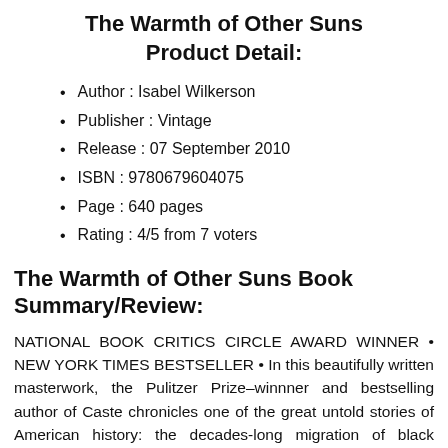The Warmth of Other Suns Product Detail:
Author : Isabel Wilkerson
Publisher : Vintage
Release : 07 September 2010
ISBN : 9780679604075
Page : 640 pages
Rating : 4/5 from 7 voters
The Warmth of Other Suns Book Summary/Review:
NATIONAL BOOK CRITICS CIRCLE AWARD WINNER • NEW YORK TIMES BESTSELLER • In this beautifully written masterwork, the Pulitzer Prize–winnner and bestselling author of Caste chronicles one of the great untold stories of American history: the decades-long migration of black citizens who fled the South for